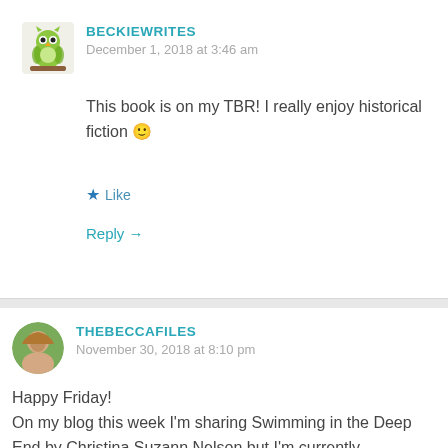BECKIEWRITES
December 1, 2018 at 3:46 am
This book is on my TBR! I really enjoy historical fiction 🙂
★ Like
Reply →
THEBECCAFILES
November 30, 2018 at 8:10 pm
Happy Friday!
On my blog this week I'm sharing Swimming in the Deep End by Christina Suzann Nelson but I'm currently reading The Home Girl by Tom Godding. I'll have the